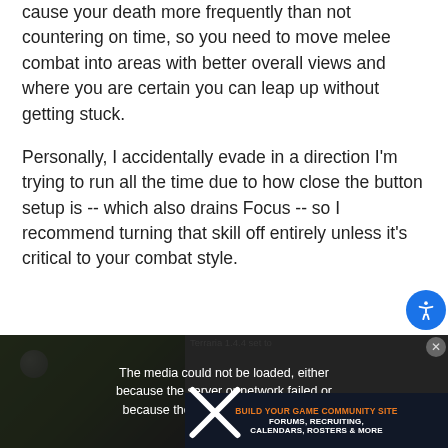cause your death more frequently than not countering on time, so you need to move melee combat into areas with better overall views and where you are certain you can leap up without getting stuck.
Personally, I accidentally evade in a direction I'm trying to run all the time due to how close the button setup is -- which also drains Focus -- so I recommend turning that skill off entirely unless it's critical to your combat style.
[Figure (screenshot): Video player showing 'Terraria 1.4.4 set to' label with media error message overlay: 'The media could not be loaded, either because the server or network failed or because the format is not supported.' with large X symbol. Below is an ad banner reading 'BUILD YOUR GAME COMMUNITY SITE FORUMS, RECRUITING, CALENDARS, ROSTERS & MORE']